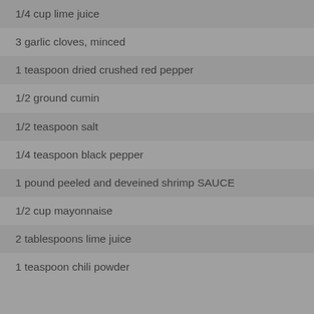1/4 cup lime juice
3 garlic cloves, minced
1 teaspoon dried crushed red pepper
1/2 ground cumin
1/2 teaspoon salt
1/4 teaspoon black pepper
1 pound peeled and deveined shrimp SAUCE
1/2 cup mayonnaise
2 tablespoons lime juice
1 teaspoon chili powder